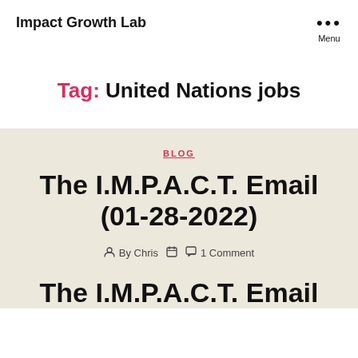Impact Growth Lab
Tag: United Nations jobs
BLOG
The I.M.P.A.C.T. Email (01-28-2022)
By Chris  1 Comment
The I.M.P.A.C.T. Email